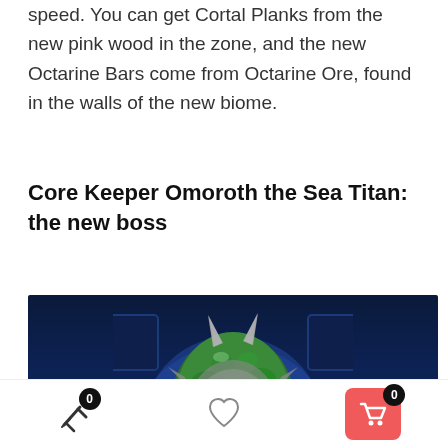speed. You can get Cortal Planks from the new pink wood in the zone, and the new Octarine Bars come from Octarine Ore, found in the walls of the new biome.
Core Keeper Omoroth the Sea Titan: the new boss
[Figure (screenshot): In-game screenshot of Omoroth the Sea Titan boss, a large creature with green mossy head, glowing orange eyes, horns, and pink/purple tentacle-like features, shown in a dark dungeon environment with blue-lit stone walls.]
Navigation bar with wishlist icon (badge 0), heart/wishlist icon, and red cart button (badge 0)